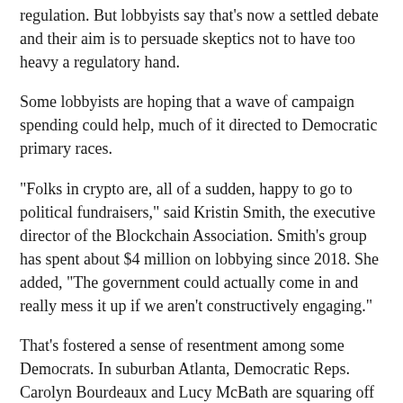regulation. But lobbyists say that's now a settled debate and their aim is to persuade skeptics not to have too heavy a regulatory hand.
Some lobbyists are hoping that a wave of campaign spending could help, much of it directed to Democratic primary races.
"Folks in crypto are, all of a sudden, happy to go to political fundraisers," said Kristin Smith, the executive director of the Blockchain Association. Smith's group has spent about $4 million on lobbying since 2018. She added, "The government could actually come in and really mess it up if we aren't constructively engaging."
That's fostered a sense of resentment among some Democrats. In suburban Atlanta, Democratic Reps. Carolyn Bourdeaux and Lucy McBath are squaring off after their districts were merged during redistricting. A crypto-affiliated super PAC is backing McBath, paying for $2 million in TV advertising that praises her.